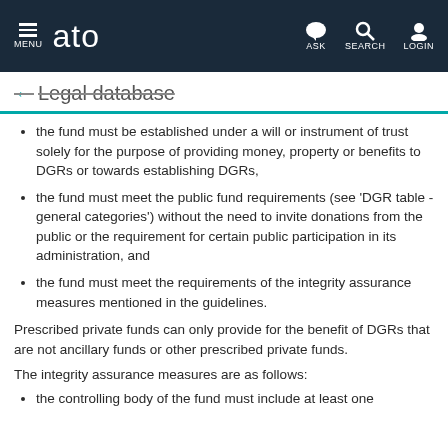MENU | ato | ASK | SEARCH | LOGIN
← Legal database
the fund must be established under a will or instrument of trust solely for the purpose of providing money, property or benefits to DGRs or towards establishing DGRs,
the fund must meet the public fund requirements (see 'DGR table - general categories') without the need to invite donations from the public or the requirement for certain public participation in its administration, and
the fund must meet the requirements of the integrity assurance measures mentioned in the guidelines.
Prescribed private funds can only provide for the benefit of DGRs that are not ancillary funds or other prescribed private funds.
The integrity assurance measures are as follows:
the controlling body of the fund must include at least one